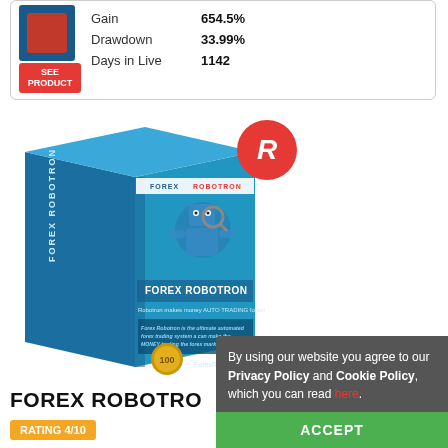| Metric | Value |
| --- | --- |
| Gain | 654.5% |
| Drawdown | 33.99% |
| Days in Live | 1142 |
[Figure (photo): Forex Robotron product box — blue box with robot graphic and 'FOREX ROBOTRON' branding, with red R badge overlay]
FOREX ROBOTRON
RATING 4/10
By using our website you agree to our Privacy Policy and Cookie Policy, which you can read here.
ACCEPT